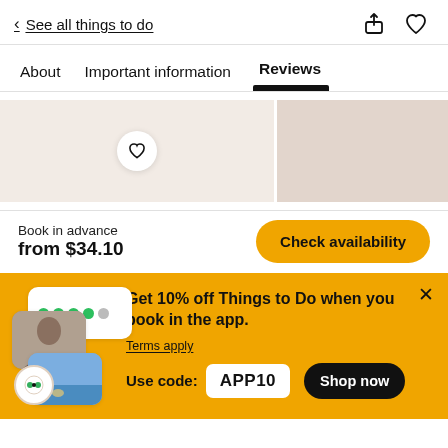< See all things to do
About  Important information  Reviews
[Figure (screenshot): Image strip preview with two photo cards and a heart/wishlist button overlay]
Book in advance
from $34.10
Check availability
Get 10% off Things to Do when you book in the app.
Terms apply
Use code: APP10
Shop now